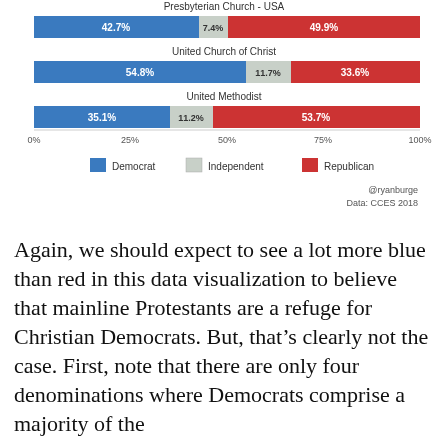[Figure (stacked-bar-chart): Presbyterian Church - USA / United Church of Christ / United Methodist]
Again, we should expect to see a lot more blue than red in this data visualization to believe that mainline Protestants are a refuge for Christian Democrats. But, that's clearly not the case. First, note that there are only four denominations where Democrats comprise a majority of the